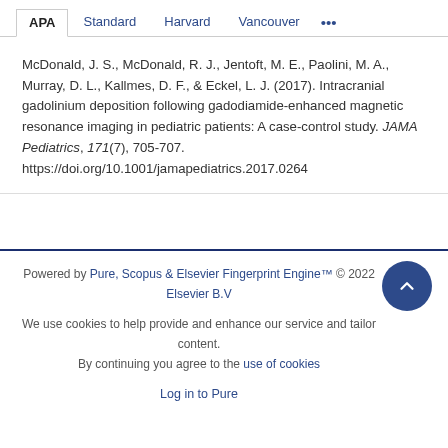APA | Standard | Harvard | Vancouver | ...
McDonald, J. S., McDonald, R. J., Jentoft, M. E., Paolini, M. A., Murray, D. L., Kallmes, D. F., & Eckel, L. J. (2017). Intracranial gadolinium deposition following gadodiamide-enhanced magnetic resonance imaging in pediatric patients: A case-control study. JAMA Pediatrics, 171(7), 705-707. https://doi.org/10.1001/jamapediatrics.2017.0264
Powered by Pure, Scopus & Elsevier Fingerprint Engine™ © 2022 Elsevier B.V
We use cookies to help provide and enhance our service and tailor content. By continuing you agree to the use of cookies
Log in to Pure